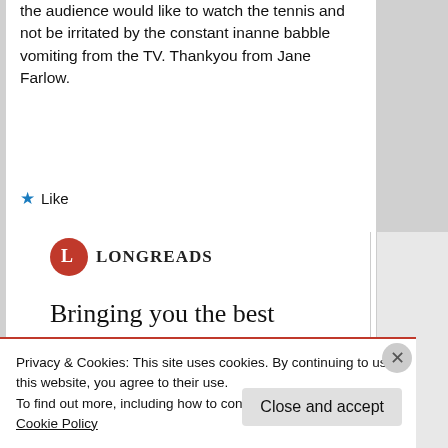the audience would like to watch the tennis and not be irritated by the constant inanne babble vomiting from the TV. Thankyou from Jane Farlow.
★ Like
[Figure (logo): Longreads logo — red semicircle with white 'L' and text 'LONGREADS']
Bringing you the best stories on the web since 2009.
Start reading
Privacy & Cookies: This site uses cookies. By continuing to use this website, you agree to their use.
To find out more, including how to control cookies, see here: Cookie Policy
Close and accept